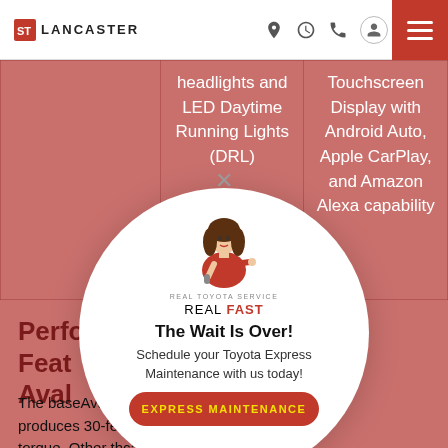Lancaster Toyota — Navigation header with logo, location, hours, phone, account, and menu icons
|  | headlights and LED Daytime Running Lights (DRL) | Touchscreen Display with Android Auto, Apple CarPlay, and Amazon Alexa capability |
| --- | --- | --- |
|  | headlights and LED Daytime Running Lights (DRL) | Touchscreen Display with Android Auto, Apple CarPlay, and Amazon Alexa capability |
Performance Features Avalon
The base Avalon produces 30 -feet of torque. Other th can also be spec'd out with a hybr Four Cylinder
[Figure (illustration): Modal popup with circular white background showing a woman in red holding a microphone, with Lancaster Toyota Express Maintenance advertisement. Text: REAL TOYOTA SERVICE REAL FAST. The Wait Is Over! Schedule your Toyota Express Maintenance with us today! EXPRESS MAINTENANCE button in red with yellow text.]